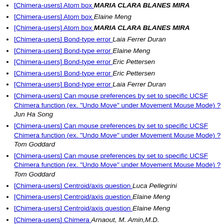[Chimera-users] Atom box  MARIA CLARA BLANES MIRA
[Chimera-users] Atom box  Elaine Meng
[Chimera-users] Atom box  MARIA CLARA BLANES MIRA
[Chimera-users] Bond-type error  Laia Ferrer Duran
[Chimera-users] Bond-type error  Elaine Meng
[Chimera-users] Bond-type error  Eric Pettersen
[Chimera-users] Bond-type error  Eric Pettersen
[Chimera-users] Bond-type error  Laia Ferrer Duran
[Chimera-users] Can mouse preferences by set to specific UCSF Chimera function (ex. "Undo Move" under Movement Mouse Mode) ?  Jun Ha Song
[Chimera-users] Can mouse preferences by set to specific UCSF Chimera function (ex. "Undo Move" under Movement Mouse Mode) ?  Tom Goddard
[Chimera-users] Can mouse preferences by set to specific UCSF Chimera function (ex. "Undo Move" under Movement Mouse Mode) ?  Tom Goddard
[Chimera-users] Centroid/axis question  Luca Pellegrini
[Chimera-users] Centroid/axis question  Elaine Meng
[Chimera-users] Centroid/axis question  Elaine Meng
[Chimera-users] Chimera  Arnaout, M. Amin,M.D.
[Chimera-users] Chimera  Tom Goddard
[Chimera-users] Chimera on macOS Catalina (10.15)  Tom Goddard
[Chimera-users] Coloring map by curvature  Tom Goddard